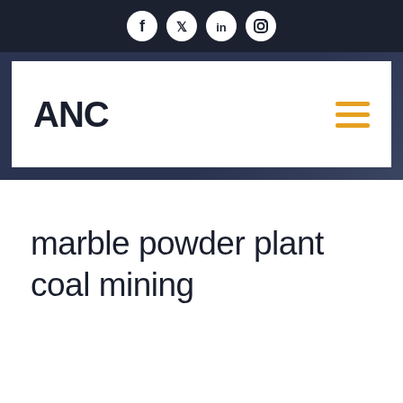[Figure (infographic): Social media icons row: Facebook, Twitter, LinkedIn, Instagram — white circles on dark navy background]
ANC
[Figure (infographic): Hamburger menu icon with three orange horizontal lines]
marble powder plant coal mining